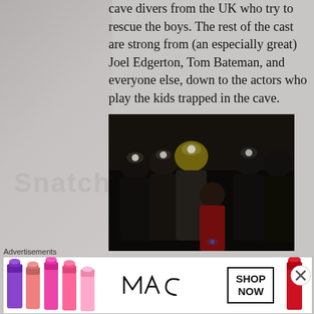cave divers from the UK who try to rescue the boys. The rest of the cast are strong from (an especially great) Joel Edgerton, Tom Bateman, and everyone else, down to the actors who play the kids trapped in the cave.
[Figure (photo): Film still showing cave divers with headlamps in dark cave around a child in a red shirt]
Ron Howard directs this movie
Advertisements
[Figure (photo): MAC Cosmetics advertisement banner with colorful lipsticks and SHOP NOW button]